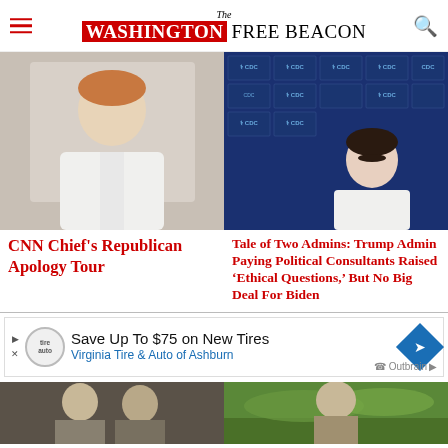The Washington Free Beacon
[Figure (photo): Man in white suit jacket smiling, light background]
CNN Chief's Republican Apology Tour
[Figure (photo): Woman at CDC press conference backdrop]
Tale of Two Admins: Trump Admin Paying Political Consultants Raised ‘Ethical Questions,’ But No Big Deal For Biden
[Figure (photo): Advertisement: Save Up To $75 on New Tires - Virginia Tire & Auto of Ashburn (Outbrain)]
[Figure (photo): Bottom left article thumbnail - two men]
[Figure (photo): Bottom right article thumbnail - outdoor landscape]